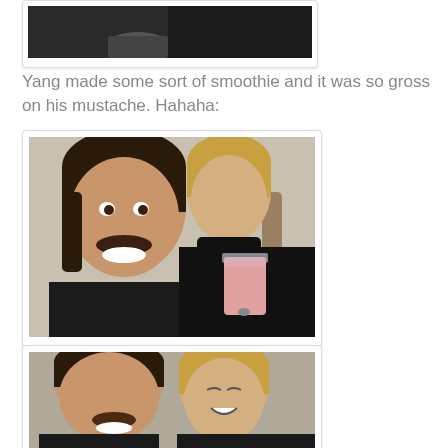[Figure (photo): Top partial photo showing two people, cropped at top of page]
Yang made some sort of smoothie and it was so gross on his mustache. Hahaha:
[Figure (photo): Man with mustache smiling broadly, woman behind him in black turtleneck holding a pink smoothie in a clear cup]
[Figure (photo): Man and woman laughing together, bottom photo partially visible]